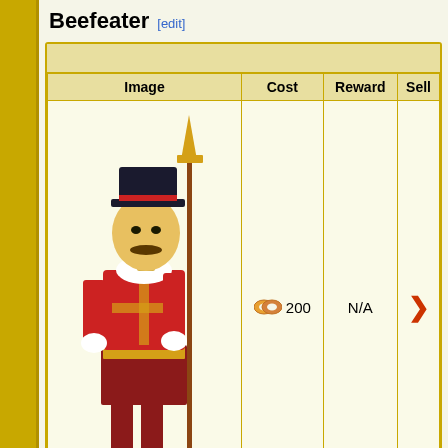Beefeater [edit]
| Image | Cost | Reward | Sell |
| --- | --- | --- | --- |
| [Beefeater character image] | 200 donuts | N/A | > |
Beerquarium [edit]
| Image | Cost | Reward | Se... |
| --- | --- | --- | --- |
| [partial image] |  |  |  |